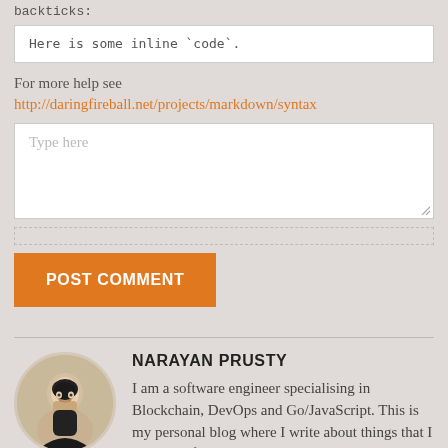backticks:
Here is some inline `code`.
For more help see
http://daringfireball.net/projects/markdown/syntax
Type here
POST COMMENT
NARAYAN PRUSTY
I am a software engineer specialising in Blockchain, DevOps and Go/JavaScript. This is my personal blog where I write about things that I learn and feel.